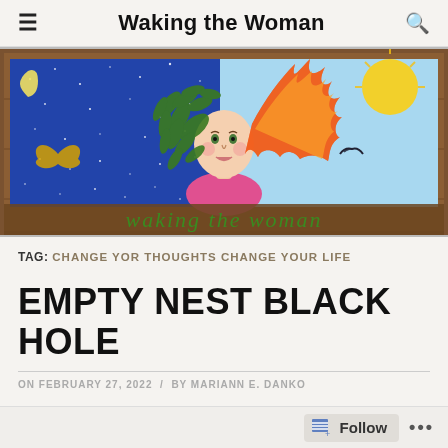Waking the Woman
[Figure (illustration): Illustrated banner showing a woman with leaf-covered hair on the left side (night/moon/stars/butterfly) and flame-like orange hair on the right side (day/sun/bird). Text 'waking the woman' in green script at the bottom of the banner.]
TAG: CHANGE YOR THOUGHTS CHANGE YOUR LIFE
EMPTY NEST BLACK HOLE
ON FEBRUARY 27, 2022 / BY MARIANNE DANKO